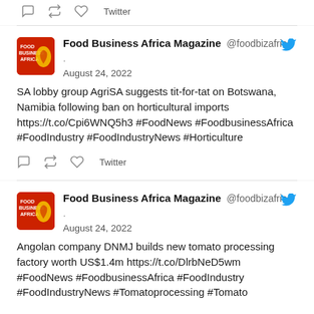Twitter (action bar icons)
Food Business Africa Magazine @foodbizafrica · August 24, 2022
SA lobby group AgriSA suggests tit-for-tat on Botswana, Namibia following ban on horticultural imports https://t.co/Cpi6WNQ5h3 #FoodNews #FoodbusinessAfrica #FoodIndustry #FoodIndustryNews #Horticulture
Twitter
Food Business Africa Magazine @foodbizafrica · August 24, 2022
Angolan company DNMJ builds new tomato processing factory worth US$1.4m https://t.co/DlrbNeD5wm #FoodNews #FoodbusinessAfrica #FoodIndustry #FoodIndustryNews #Tomatoprocessing #Tomato